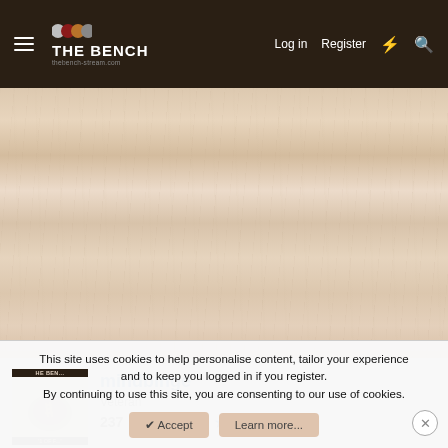THE BENCH | Log in | Register
[Figure (screenshot): Wood grain texture background area]
mindbinge
Veteran
237 ★★★★★
This site uses cookies to help personalise content, tailor your experience and to keep you logged in if you register.
By continuing to use this site, you are consenting to our use of cookies.
Accept   Learn more...